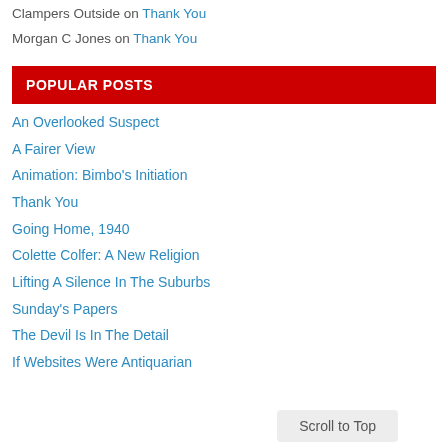Clampers Outside on Thank You
Morgan C Jones on Thank You
POPULAR POSTS
An Overlooked Suspect
A Fairer View
Animation: Bimbo's Initiation
Thank You
Going Home, 1940
Colette Colfer: A New Religion
Lifting A Silence In The Suburbs
Sunday's Papers
The Devil Is In The Detail
If Websites Were Antiquarian
Scroll to Top